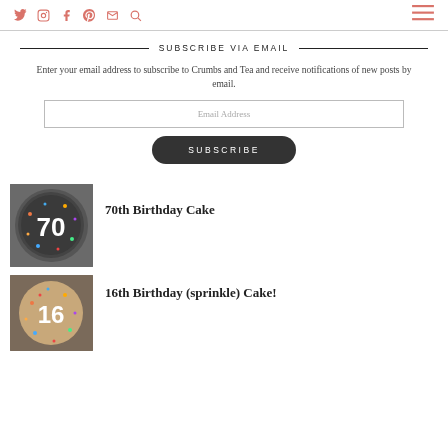Social icons: Twitter, Instagram, Facebook, Pinterest, Email, Search | Hamburger menu
SUBSCRIBE VIA EMAIL
Enter your email address to subscribe to Crumbs and Tea and receive notifications of new posts by email.
Email Address
SUBSCRIBE
70th Birthday Cake
[Figure (photo): Photo of a round cake decorated with the number 70 in white frosting on a colorful sprinkle background]
16th Birthday (sprinkle) Cake!
[Figure (photo): Photo of a round cake covered in colorful sprinkles with the number 16 visible]